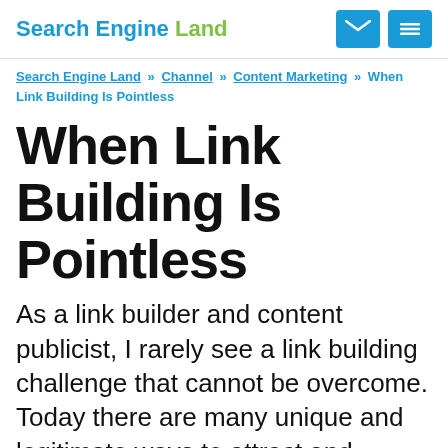Search Engine Land
Search Engine Land » Channel » Content Marketing » When Link Building Is Pointless
When Link Building Is Pointless
As a link builder and content publicist, I rarely see a link building challenge that cannot be overcome. Today there are many unique and legitimate ways to attract and generate links that didn't exist